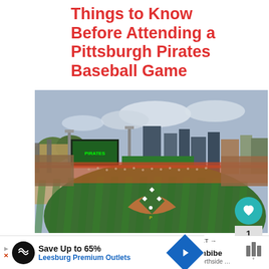Things to Know Before Attending a Pittsburgh Pirates Baseball Game
[Figure (photo): Aerial view of PNC Park baseball stadium filled with fans, with Pittsburgh city skyline in the background]
Pittsburgh is a sports
[Figure (other): WHAT'S NEXT panel showing Imbibe Northside thumbnail]
[Figure (other): Advertisement: Save Up to 65% - Leesburg Premium Outlets with navigation arrow icon]